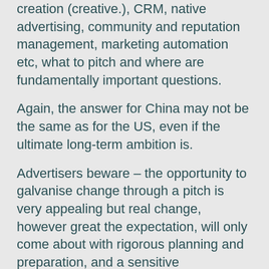creation (creative.), CRM, native advertising, community and reputation management, marketing automation etc, what to pitch and where are fundamentally important questions.
Again, the answer for China may not be the same as for the US, even if the ultimate long-term ambition is.
Advertisers beware – the opportunity to galvanise change through a pitch is very appealing but real change, however great the expectation, will only come about with rigorous planning and preparation, and a sensitive understanding and tolerance for market differences, whatever the reasons for those differences and however frustrating they may be. So:
– Spend at least 50% of the time you allocate to the